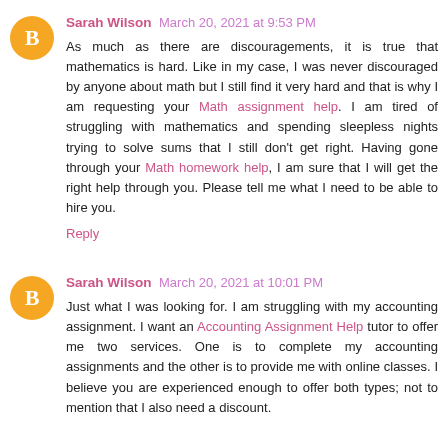Sarah Wilson March 20, 2021 at 9:53 PM
As much as there are discouragements, it is true that mathematics is hard. Like in my case, I was never discouraged by anyone about math but I still find it very hard and that is why I am requesting your Math assignment help. I am tired of struggling with mathematics and spending sleepless nights trying to solve sums that I still don't get right. Having gone through your Math homework help, I am sure that I will get the right help through you. Please tell me what I need to be able to hire you.
Reply
Sarah Wilson March 20, 2021 at 10:01 PM
Just what I was looking for. I am struggling with my accounting assignment. I want an Accounting Assignment Help tutor to offer me two services. One is to complete my accounting assignments and the other is to provide me with online classes. I believe you are experienced enough to offer both types; not to mention that I also need a discount.